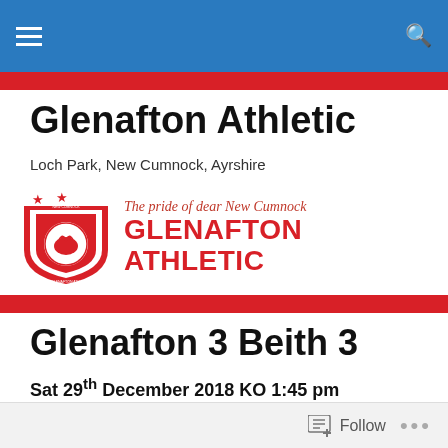Glenafton Athletic
Loch Park, New Cumnock, Ayrshire
[Figure (logo): Glenafton Athletic football club logo with red shield crest and two red stars, tagline 'The pride of dear New Cumnock', and bold red club name GLENAFTON ATHLETIC]
Glenafton 3 Beith 3
Sat 29th December 2018 KO 1:45 pm
McBookie.com West Region Premiership | Match 16
Follow ...